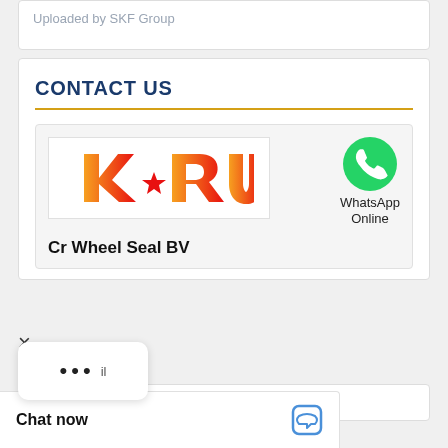Uploaded by SKF Group
CONTACT US
[Figure (logo): KRU logo - red and orange stylized letters KRU with a star, on white background]
[Figure (logo): WhatsApp green phone icon with text 'WhatsApp Online']
Cr Wheel Seal BV
il
Please Enter your Email Address
Chat now